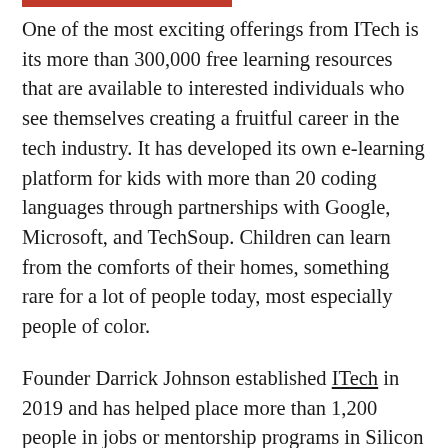One of the most exciting offerings from ITech is its more than 300,000 free learning resources that are available to interested individuals who see themselves creating a fruitful career in the tech industry. It has developed its own e-learning platform for kids with more than 20 coding languages through partnerships with Google, Microsoft, and TechSoup. Children can learn from the comforts of their homes, something rare for a lot of people today, most especially people of color.
Founder Darrick Johnson established ITech in 2019 and has helped place more than 1,200 people in jobs or mentorship programs in Silicon Valley since then. Throughout the course of his decade-long career in the tech industry, he has received over a thousand reject emails from companies in Silicon Valley. This motivated